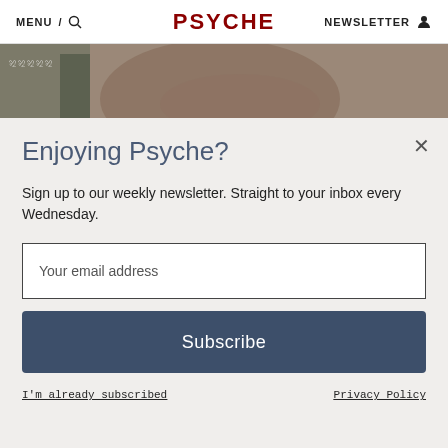MENU / 🔍  PSYCHE  NEWSLETTER 👤
[Figure (photo): Partial view of a muted earthy-toned artwork or photograph showing stone architecture and organic shapes]
Enjoying Psyche?
Sign up to our weekly newsletter. Straight to your inbox every Wednesday.
Your email address
Subscribe
I'm already subscribed
Privacy Policy